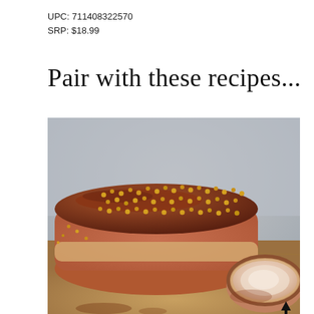UPC: 711408322570
SRP: $18.99
Pair with these recipes...
[Figure (photo): A glazed pork roast covered with mustard seeds, sliced on a wooden cutting board. A cut piece revealing the pink interior is visible in the foreground right. A small black upward arrow is visible in the bottom right corner of the image.]